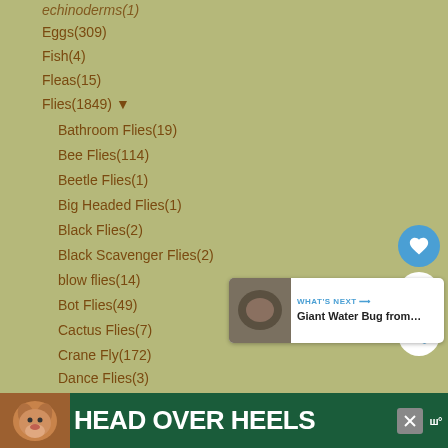echinoderms(1)
Eggs(309)
Fish(4)
Fleas(15)
Flies(1849) ▼
Bathroom Flies(19)
Bee Flies(114)
Beetle Flies(1)
Big Headed Flies(1)
Black Flies(2)
Black Scavenger Flies(2)
blow flies(14)
Bot Flies(49)
Cactus Flies(7)
Crane Fly(172)
Dance Flies(3)
Dung Flies(2)
Flesh Flies(16)
Flower Loving Flies(1)
Flutter Flies(1)
[Figure (other): What's Next card showing Giant Water Bug from... with thumbnail image]
[Figure (other): Advertisement banner: HEAD OVER HEELS with dog image and close button]